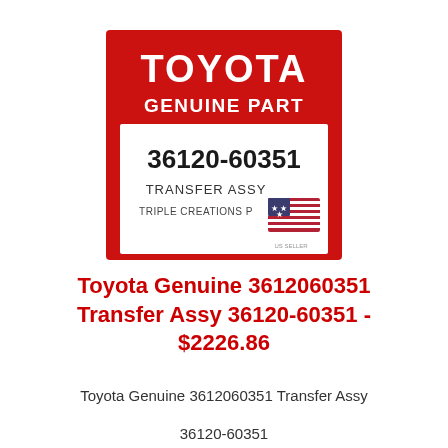[Figure (illustration): Toyota Genuine Part product label showing part number 36120-60351, TRANSFER ASSY, with red Toyota branding at top and US flag graphic, from Triple Creations]
Toyota Genuine 3612060351 Transfer Assy 36120-60351 - $2226.86
Toyota Genuine 3612060351 Transfer Assy
36120-60351